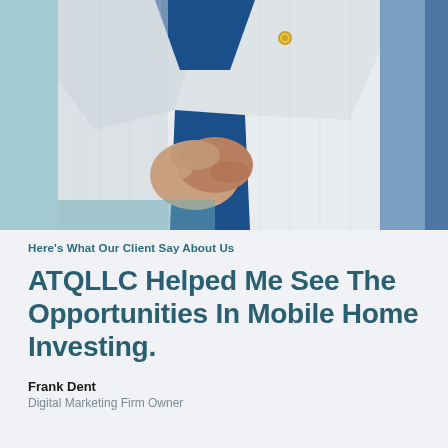[Figure (photo): Man in white striped blazer over blue polo shirt with gold lapel pin, hands clasped, photographed from chest down. Teal accent on left side, blue accent on right.]
Here's What Our Client Say About Us
ATQLLC Helped Me See The Opportunities In Mobile Home Investing.
Frank Dent
Digital Marketing Firm Owner